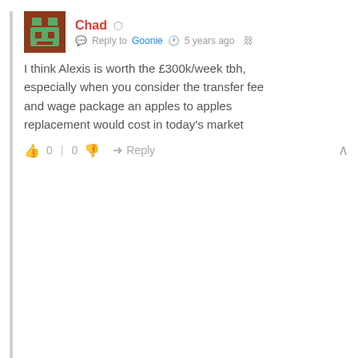Chad — Reply to Goonie · 5 years ago
I think Alexis is worth the £300k/week tbh, especially when you consider the transfer fee and wage package an apples to apples replacement would cost in today's market
👍 0 | 0 👎 → Reply ∧
[Figure (screenshot): Second commenter avatar (brown and purple pixel art) with username 'Mnls' partially visible]
We use cookies on our website to give you the most relevant experience by remembering your preferences and repeat visits. By clicking "Accept All", you consent to the use of ALL the cookies. However, you may visit "Cookie Settings" to provide a controlled consent.
Cookie Settings | Accept All